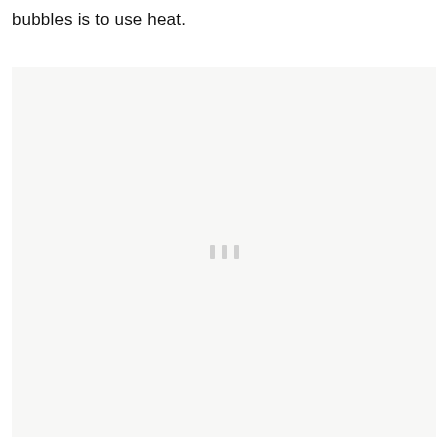bubbles is to use heat.
[Figure (photo): A mostly blank light gray image placeholder area with three small vertical gray bars/dots centered in the lower-middle portion, indicating a loading or empty image state.]